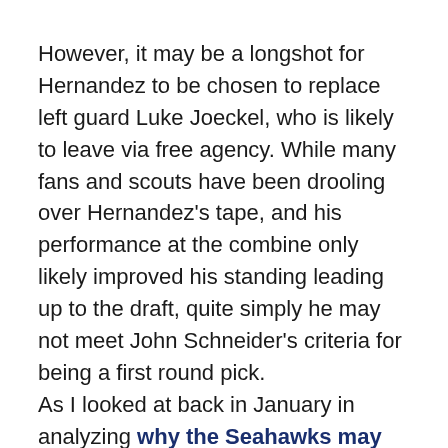However, it may be a longshot for Hernandez to be chosen to replace left guard Luke Joeckel, who is likely to leave via free agency. While many fans and scouts have been drooling over Hernandez's tape, and his performance at the combine only likely improved his standing leading up to the draft, quite simply he may not meet John Schneider's criteria for being a first round pick.
As I looked at back in January in analyzing why the Seahawks may have passed on Ryan Ramczyk, Schneider certainly has a preference for drafting players who have multiple seasons of starting experience. Digging further, since arriving in Seattle Schneider has used only one pick in the first two rounds on a player who did not play at a Power 5